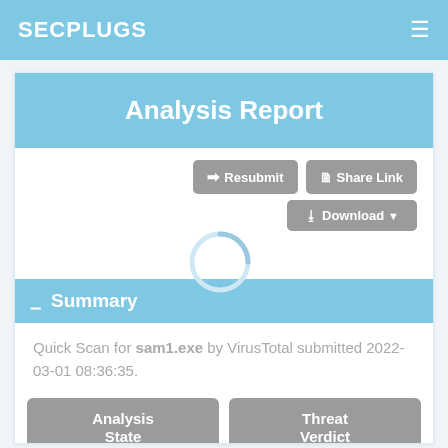SECPLUGS
Analysis Report
— Summary
Quick Scan for sam1.exe by VirusTotal submitted 2022-03-01 08:36:35.
| Analysis State | Threat Verdict |
| --- | --- |
| SUCCESS | MALWARE |